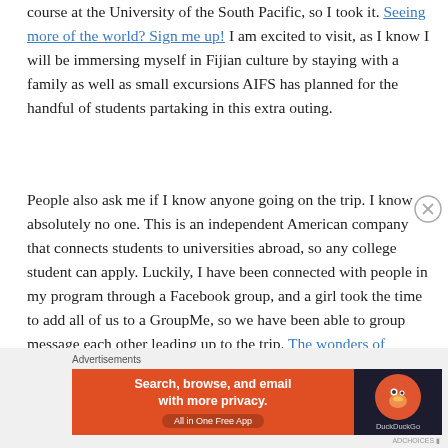course at the University of the South Pacific, so I took it. Seeing more of the world? Sign me up! I am excited to visit, as I know I will be immersing myself in Fijian culture by staying with a family as well as small excursions AIFS has planned for the handful of students partaking in this extra outing.
People also ask me if I know anyone going on the trip. I know absolutely no one. This is an independent American company that connects students to universities abroad, so any college student can apply. Luckily, I have been connected with people in my program through a Facebook group, and a girl took the time to add all of us to a GroupMe, so we have been able to group message each other leading up to the trip. The wonders of technology!
[Figure (other): DuckDuckGo advertisement banner: 'Search, browse, and email with more privacy. All in One Free App' with DuckDuckGo logo on dark right panel]